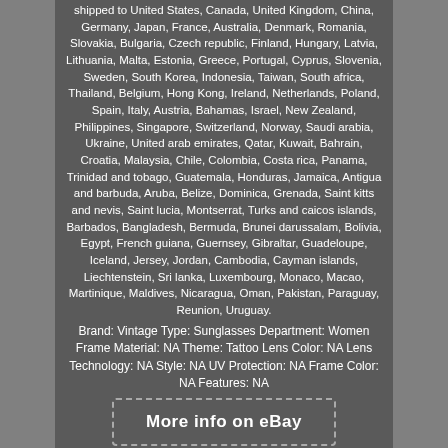shipped to United States, Canada, United Kingdom, China, Germany, Japan, France, Australia, Denmark, Romania, Slovakia, Bulgaria, Czech republic, Finland, Hungary, Latvia, Lithuania, Malta, Estonia, Greece, Portugal, Cyprus, Slovenia, Sweden, South Korea, Indonesia, Taiwan, South africa, Thailand, Belgium, Hong Kong, Ireland, Netherlands, Poland, Spain, Italy, Austria, Bahamas, Israel, New Zealand, Philippines, Singapore, Switzerland, Norway, Saudi arabia, Ukraine, United arab emirates, Qatar, Kuwait, Bahrain, Croatia, Malaysia, Chile, Colombia, Costa rica, Panama, Trinidad and tobago, Guatemala, Honduras, Jamaica, Antigua and barbuda, Aruba, Belize, Dominica, Grenada, Saint kitts and nevis, Saint lucia, Montserrat, Turks and caicos islands, Barbados, Bangladesh, Bermuda, Brunei darussalam, Bolivia, Egypt, French guiana, Guernsey, Gibraltar, Guadeloupe, Iceland, Jersey, Jordan, Cambodia, Cayman islands, Liechtenstein, Sri lanka, Luxembourg, Monaco, Macao, Martinique, Maldives, Nicaragua, Oman, Pakistan, Paraguay, Reunion, Uruguay.
Brand: Vintage Type: Sunglasses Department: Women Frame Material: NA Theme: Tattoo Lens Color: NA Lens Technology: NA Style: NA UV Protection: NA Frame Color: NA Features: NA
More info on eBay